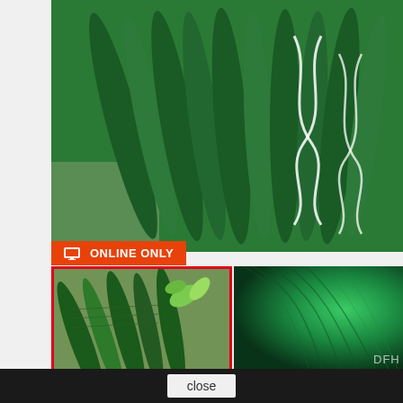[Figure (photo): Close-up photo of dark green textured dreadlock extensions with white ribbon/lace detail, shot on wooden surface background]
ONLINE ONLY
[Figure (photo): Thumbnail photo with red border showing green dreadlock extensions with green leaves on wooden surface]
[Figure (photo): Thumbnail showing smooth green synthetic hair swatch with DFH label in bottom right]
STANDARD LONG SYNTHETIC EXTENSIONS – PACK 5 UTS.
€40.19
–
Pack of 5 Standard Synthetic Extensions (80 d...